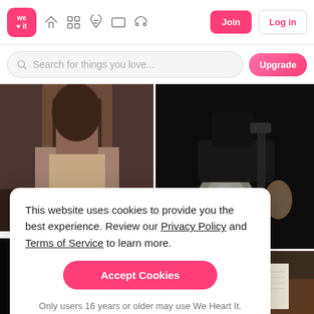[Figure (screenshot): We Heart It website navbar with logo, navigation icons, Join and Log in buttons]
[Figure (screenshot): Search bar with placeholder 'Search for things you love...' and Upgrade button]
[Figure (photo): Dark photo of a woman wearing jewelry]
[Figure (photo): Dark photo of a motorcycle headlight and handlebars]
[Figure (photo): Photo of books and a pen on a wooden surface]
[Figure (photo): Dark photo with faint light glow]
This website uses cookies to provide you the best experience. Review our Privacy Policy and Terms of Service to learn more.
Accept Cookies
Only users 16 years or older may use We Heart It.